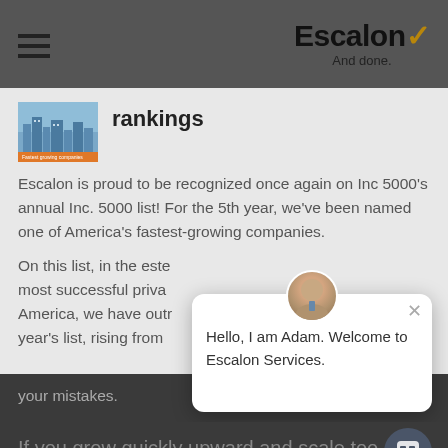Escalon ✓ And done.
rankings
Escalon is proud to be recognized once again on Inc 5000's annual Inc. 5000 list! For the 5th year, we've been named one of America's fastest-growing companies.
On this list, in the este most successful priva America, we have outr year's list, rising from your mistakes.
Hello, I am Adam. Welcome to Escalon Services.
If you grow quickly upward and scale too you are going to struggle to meet customer